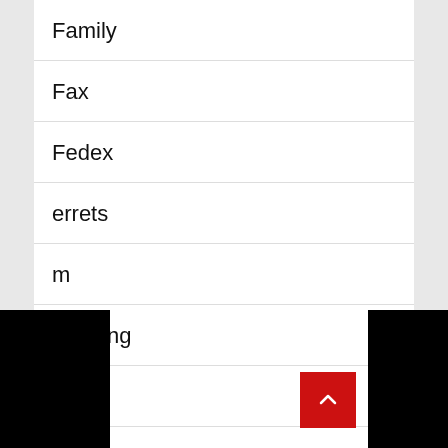Family
Fax
Fedex
Ferrets
Film
Flooring
Font
Food